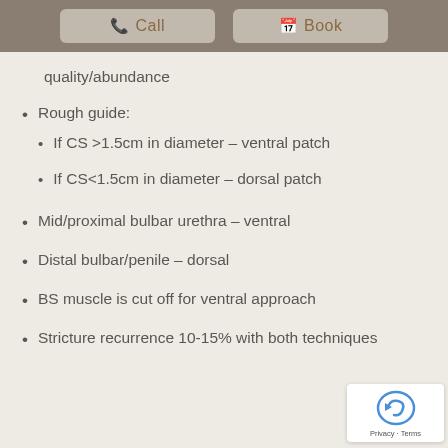Call  Book
quality/abundance
Rough guide:
If CS >1.5cm in diameter – ventral patch
If CS<1.5cm in diameter – dorsal patch
Mid/proximal bulbar urethra – ventral
Distal bulbar/penile – dorsal
BS muscle is cut off for ventral approach
Stricture recurrence 10-15% with both techniques